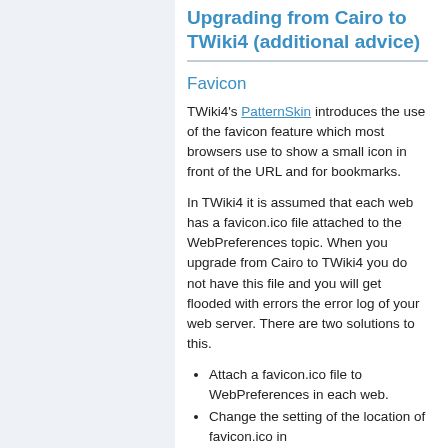Upgrading from Cairo to TWiki4 (additional advice)
Favicon
TWiki4's PatternSkin introduces the use of the favicon feature which most browsers use to show a small icon in front of the URL and for bookmarks.
In TWiki4 it is assumed that each web has a favicon.ico file attached to the WebPreferences topic. When you upgrade from Cairo to TWiki4 you do not have this file and you will get flooded with errors the error log of your web server. There are two solutions to this.
Attach a favicon.ico file to WebPreferences in each web.
Change the setting of the location of favicon.ico in